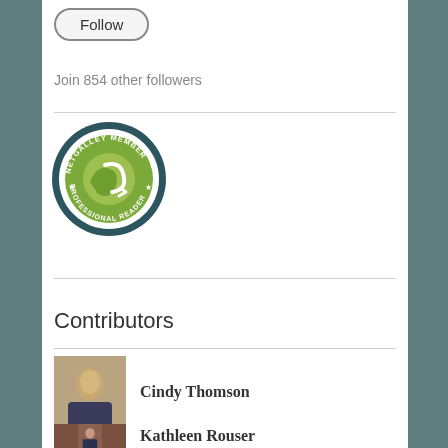[Figure (illustration): A rounded rectangle button labeled 'Follow']
Join 854 other followers
[Figure (logo): NetGalley Member Professional Reader circular badge with green logo]
Contributors
[Figure (photo): Profile photo of Cindy Thomson]
Cindy Thomson
[Figure (photo): Profile photo of Kathleen Rouser]
Kathleen Rouser